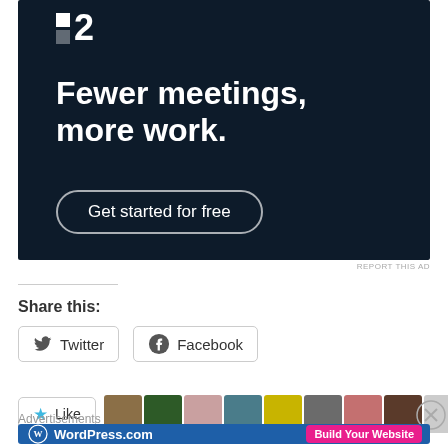[Figure (screenshot): Dark navy advertisement banner for a project management tool. Shows a logo with two squares and number '2', tagline 'Fewer meetings, more work.' and a 'Get started for free' button with rounded border.]
REPORT THIS AD
Share this:
[Figure (screenshot): Twitter share button with bird icon and label 'Twitter']
[Figure (screenshot): Facebook share button with circle-f icon and label 'Facebook']
[Figure (screenshot): Like button with star icon and label 'Like', followed by a row of user avatar thumbnails]
Advertisements
[Figure (screenshot): WordPress.com advertisement banner with blue background, WordPress logo, site name 'WordPress.com', and pink 'Build Your Website' button]